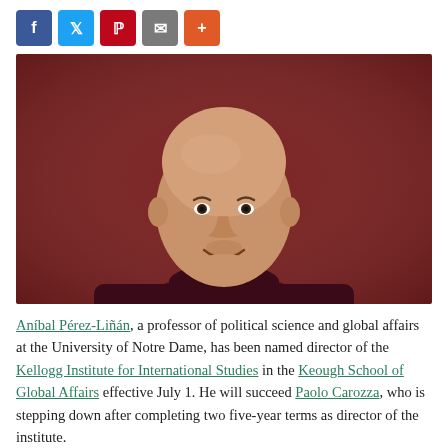[Figure (other): Row of social share buttons: Facebook (blue), Twitter (light blue), Pinterest (red), Email (gray), More/plus (orange)]
[Figure (photo): Portrait photo of Aníbal Pérez-Liñán, a bald man smiling, wearing a dark maroon turtleneck sweater, against a dark red background.]
Aníbal Pérez-Liñán, a professor of political science and global affairs at the University of Notre Dame, has been named director of the Kellogg Institute for International Studies in the Keough School of Global Affairs effective July 1. He will succeed Paolo Carozza, who is stepping down after completing two five-year terms as director of the institute.